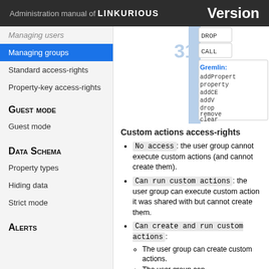Administration manual of LINKURIOUS — Version
Managing users
Managing groups
Standard access-rights
Property-key access-rights
Guest mode
Guest mode
Data Schema
Property types
Hiding data
Strict mode
Alerts
[Figure (screenshot): Screenshot of a UI panel showing code options including DROP, CALL, and a Gremlin dropdown with addProperty, property, addCE, addV, drop, remove, clear; with a blue vertical bar and number 31 overlaid]
Custom actions access-rights
No access: the user group cannot execute custom actions (and cannot create them).
Can run custom actions: the user group can execute custom action it was shared with but cannot create them.
Can create and run custom actions: The user group can create custom actions. The user group can…